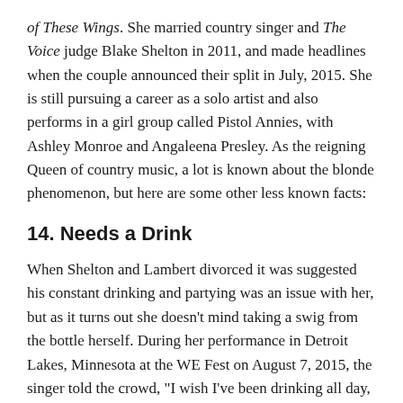of These Wings. She married country singer and The Voice judge Blake Shelton in 2011, and made headlines when the couple announced their split in July, 2015. She is still pursuing a career as a solo artist and also performs in a girl group called Pistol Annies, with Ashley Monroe and Angaleena Presley. As the reigning Queen of country music, a lot is known about the blonde phenomenon, but here are some other less known facts:
14. Needs a Drink
When Shelton and Lambert divorced it was suggested his constant drinking and partying was an issue with her, but as it turns out she doesn’t mind taking a swig from the bottle herself. During her performance in Detroit Lakes, Minnesota at the WE Fest on August 7, 2015, the singer told the crowd, “I wish I’ve been drinking all day, I deserve it…I just got divorced.” Fans tweeted that they’d be up for grabbing a drink with her. The 34-year-old country star also started crying while singing ‘Over You.’